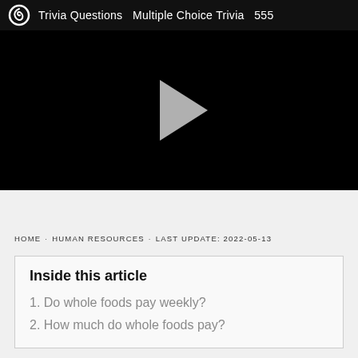Trivia Questions  Multiple Choice Trivia  555
[Figure (other): Black video player area with a grey play button triangle in the center]
HOME · HUMAN RESOURCES · LAST UPDATE: 2022-05-13
Inside this article
1. Do whole foods pay weekly?
2. How much do whole foods pay?